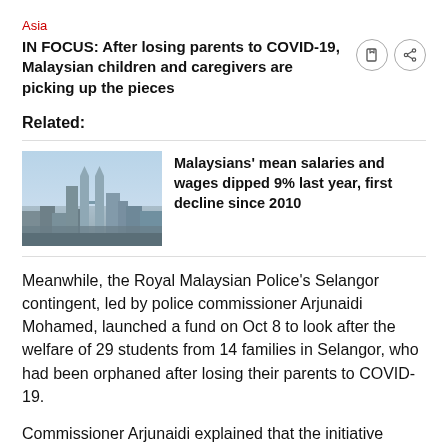Asia
IN FOCUS: After losing parents to COVID-19, Malaysian children and caregivers are picking up the pieces
Related:
[Figure (photo): Aerial view of Kuala Lumpur city skyline with skyscrapers including the Petronas Towers]
Malaysians' mean salaries and wages dipped 9% last year, first decline since 2010
Meanwhile, the Royal Malaysian Police's Selangor contingent, led by police commissioner Arjunaidi Mohamed, launched a fund on Oct 8 to look after the welfare of 29 students from 14 families in Selangor, who had been orphaned after losing their parents to COVID-19.
Commissioner Arjunaidi explained that the initiative